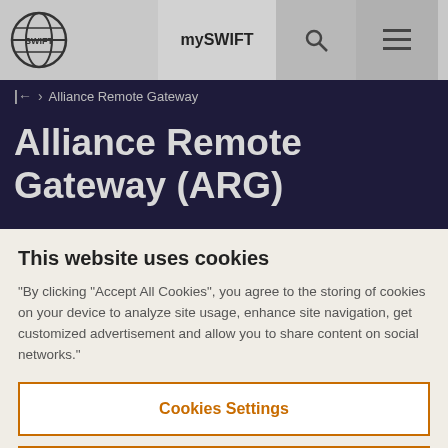mySWIFT
← › Alliance Remote Gateway
Alliance Remote Gateway (ARG)
This website uses cookies
“By clicking “Accept All Cookies”, you agree to the storing of cookies on your device to analyze site usage, enhance site navigation, get customized advertisement and allow you to share content on social networks.”
Cookies Settings
Reject All